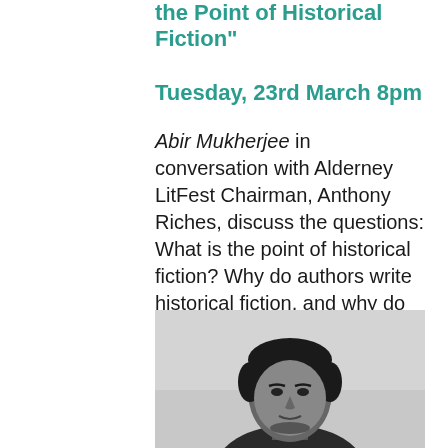the Point of Historical Fiction"
Tuesday, 23rd March 8pm
Abir Mukherjee in conversation with Alderney LitFest Chairman, Anthony Riches, discuss the questions: What is the point of historical fiction? Why do authors write historical fiction, and why do we bother reading it? And can historical fiction authors truly create protagonists Perfect for their period?
[Figure (photo): Black and white portrait photograph of Abir Mukherjee, showing his face and upper body against a light background.]